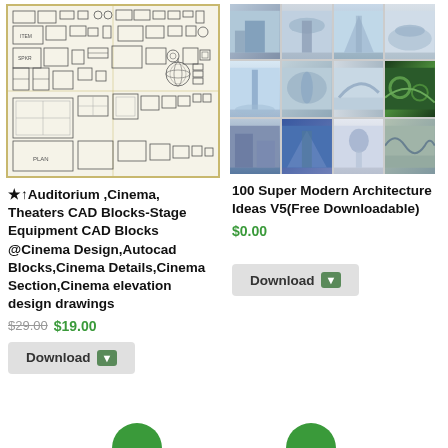[Figure (engineering-diagram): CAD blueprint showing auditorium/cinema stage equipment blocks, including speaker systems, lighting rigs, stage furniture, and technical drawings with dimensions]
[Figure (illustration): 3x4 grid collage of modern architecture photos showing towers, futuristic buildings, monuments, and sculptural structures]
★↑Auditorium ,Cinema, Theaters CAD Blocks-Stage Equipment CAD Blocks @Cinema Design,Autocad Blocks,Cinema Details,Cinema Section,Cinema elevation design drawings
100 Super Modern Architecture Ideas V5(Free Downloadable)
$29.00 $19.00
$0.00
Download
Download